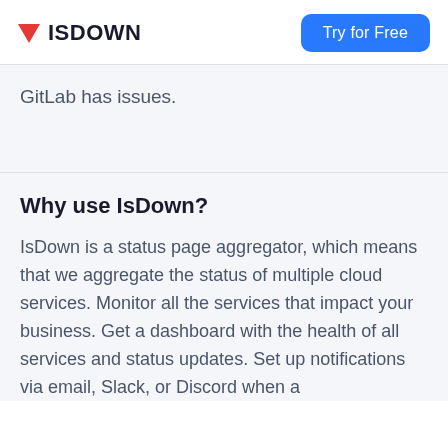ISDOWN | Try for Free
GitLab has issues.
Why use IsDown?
IsDown is a status page aggregator, which means that we aggregate the status of multiple cloud services. Monitor all the services that impact your business. Get a dashboard with the health of all services and status updates. Set up notifications via email, Slack, or Discord when a